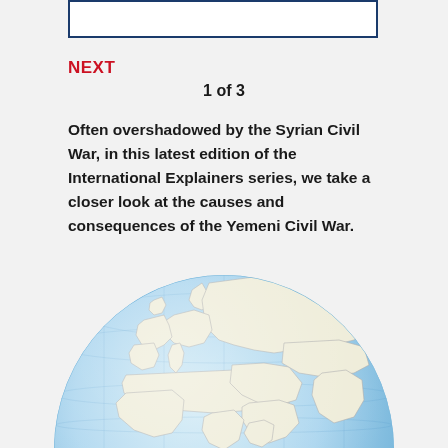[Figure (other): White rectangle box with dark blue border at top of page]
NEXT
1 of 3
Often overshadowed by the Syrian Civil War, in this latest edition of the International Explainers series, we take a closer look at the causes and consequences of the Yemeni Civil War.
[Figure (map): Globe showing Europe, Russia, Middle East and Africa regions with blue ocean and light tan landmasses, grid lines visible]